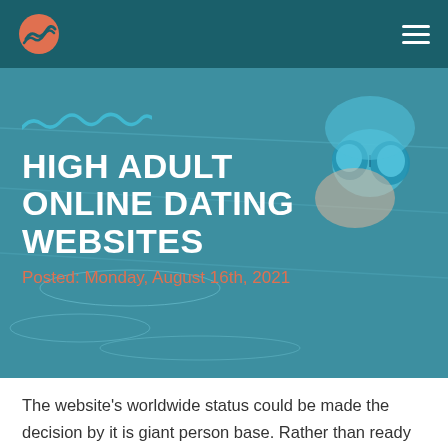[Logo] [Navigation hamburger menu]
[Figure (photo): Hero image of a person swimming with blue goggles and swim cap, viewed from above in a pool]
HIGH ADULT ONLINE DATING WEBSITES
Posted: Monday, August 16th, 2021
The website's worldwide status could be made the decision by it is giant person base. Rather than ready to end up being matched you can actually skip directly manage to your...